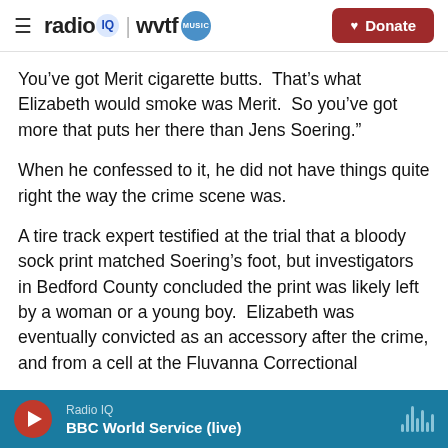radio IQ | wvtf MUSIC — Donate
You’ve got Merit cigarette butts.  That’s what Elizabeth would smoke was Merit.  So you’ve got more that puts her there than Jens Soering.”
When he confessed to it, he did not have things quite right the way the crime scene was.
A tire track expert testified at the trial that a bloody sock print matched Soering’s foot, but investigators in Bedford County concluded the print was likely left by a woman or a young boy.  Elizabeth was eventually convicted as an accessory after the crime, and from a cell at the Fluvanna Correctional
Radio IQ
BBC World Service (live)